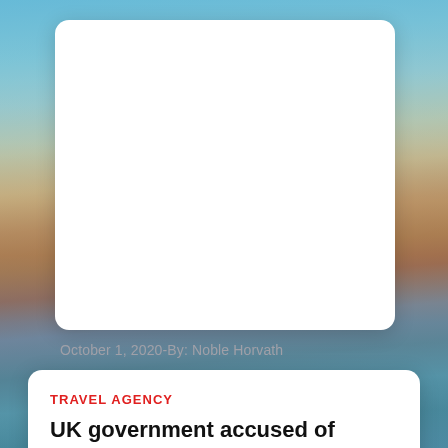[Figure (photo): City skyline photo showing waterfront with bridges, historic buildings, and a church spire in the background under a blue sky — appears to be Stockholm, Sweden]
October 1, 2020-By: Noble Horvath
TRAVEL AGENCY
UK government accused of destroying confidence in overseas